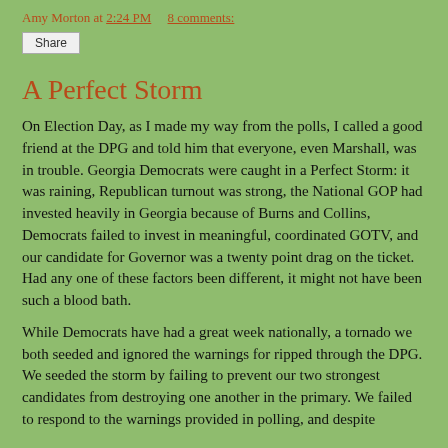Amy Morton at 2:24 PM    8 comments:
Share
A Perfect Storm
On Election Day, as I made my way from the polls, I called a good friend at the DPG and told him that everyone, even Marshall, was in trouble. Georgia Democrats were caught in a Perfect Storm: it was raining, Republican turnout was strong, the National GOP had invested heavily in Georgia because of Burns and Collins, Democrats failed to invest in meaningful, coordinated GOTV, and our candidate for Governor was a twenty point drag on the ticket. Had any one of these factors been different, it might not have been such a blood bath.
While Democrats have had a great week nationally, a tornado we both seeded and ignored the warnings for ripped through the DPG. We seeded the storm by failing to prevent our two strongest candidates from destroying one another in the primary. We failed to respond to the warnings provided in polling, and despite